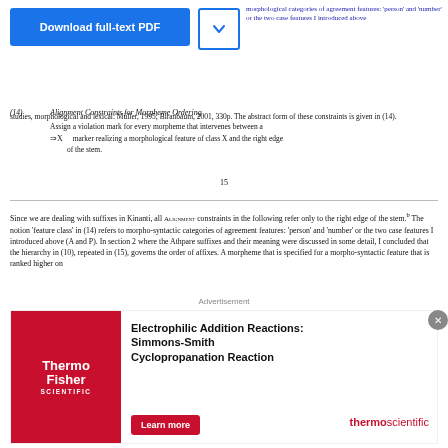[Figure (other): Download full-text PDF button with blue background and dropdown arrow]
form of these constraints is given in (14).
15
Since we are dealing with suffixes in Kinanti, all ALIGNMENT constraints in the following refer only to the right edge of the stem. The notion 'feature class' in (14) refers to morpho-syntactic categories of agreement features: 'person' and 'number' or the two case features I introduced above (A and P). In section 2 where the Athpare suffixes and their meaning were discussed in some detail, I concluded that the hierarchy in (10), repeated in (15), governs the order of affixes. A morpheme that is specified for a morpho-syntactic feature that is ranked higher on
[Figure (other): Advertisement banner for ThermoFisher Scientific - Electrophilic Addition Reactions: Simmons-Smith Cyclopropanation Reaction with Learn more button]